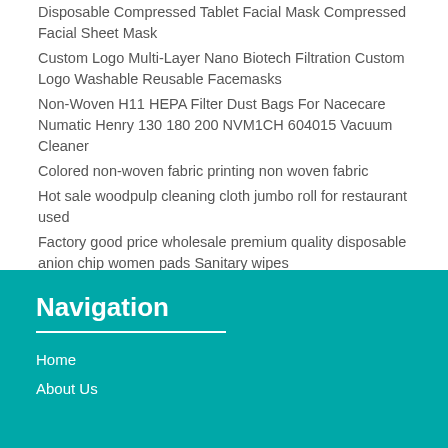Disposable Compressed Tablet Facial Mask Compressed Facial Sheet Mask
Custom Logo Multi-Layer Nano Biotech Filtration Custom Logo Washable Reusable Facemasks
Non-Woven H11 HEPA Filter Dust Bags For Nacecare Numatic Henry 130 180 200 NVM1CH 604015 Vacuum Cleaner
Colored non-woven fabric printing non woven fabric
Hot sale woodpulp cleaning cloth jumbo roll for restaurant used
Factory good price wholesale premium quality disposable anion chip women pads Sanitary wipes
Navigation
Home
About Us